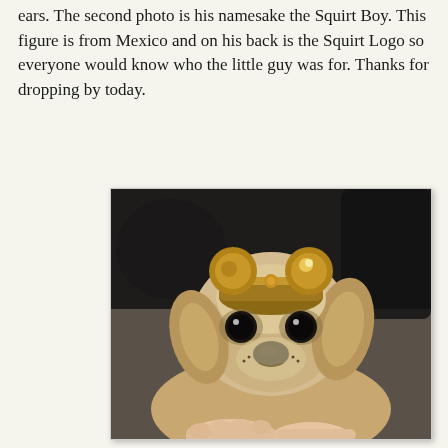ears. The second photo is his namesake the Squirt Boy. This figure is from Mexico and on his back is the Squirt Logo so everyone would know who the little guy was for. Thanks for dropping by today.
[Figure (photo): A Chihuahua dog wearing a small golden Mickey Mouse-style ears hat, looking directly at the camera with large dark eyes. The dog is being held by a person's hand, visible at the bottom of the frame. The background is dark/blurred.]